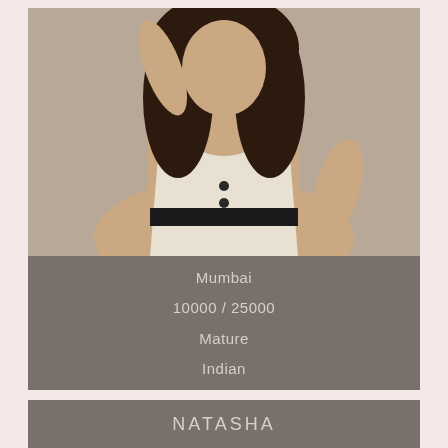[Figure (photo): Woman in white and black outfit posing]
Mumbai
10000 / 25000
Mature
Indian
NATASHA